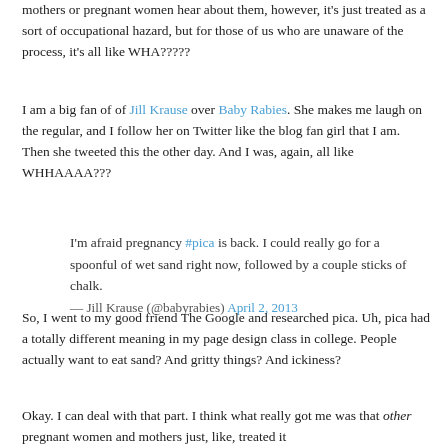mothers or pregnant women hear about them, however, it's just treated as a sort of occupational hazard, but for those of us who are unaware of the process, it's all like WHA?????
I am a big fan of of Jill Krause over Baby Rabies. She makes me laugh on the regular, and I follow her on Twitter like the blog fan girl that I am. Then she tweeted this the other day. And I was, again, all like WHHAAAA???
I'm afraid pregnancy #pica is back. I could really go for a spoonful of wet sand right now, followed by a couple sticks of chalk.
— Jill Krause (@babyrabies) April 2, 2013
So, I went to my good friend The Google and researched pica. Uh, pica had a totally different meaning in my page design class in college. People actually want to eat sand? And gritty things? And ickiness?
Okay. I can deal with that part. I think what really got me was that other pregnant women and mothers just, like, treated it